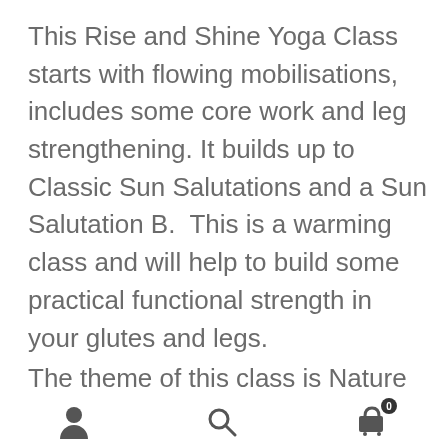This Rise and Shine Yoga Class starts with flowing mobilisations, includes some core work and leg strengthening. It builds up to Classic Sun Salutations and a Sun Salutation B.  This is a warming class and will help to build some practical functional strength in your glutes and legs.
The theme of this class is Nature and
[Figure (other): Mobile app bottom navigation bar with three icons: person/account icon, search icon, and shopping cart icon with badge showing 0]